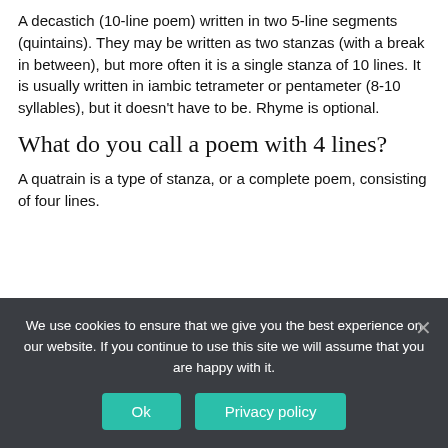A decastich (10-line poem) written in two 5-line segments (quintains). They may be written as two stanzas (with a break in between), but more often it is a single stanza of 10 lines. It is usually written in iambic tetrameter or pentameter (8-10 syllables), but it doesn't have to be. Rhyme is optional.
What do you call a poem with 4 lines?
A quatrain is a type of stanza, or a complete poem, consisting of four lines.
[Figure (advertisement): OnlineDivorcer advertisement: 'DIVORCE MADE SIMPLE' with GET STARTED button and feature badges: COURT-APPROVED FORMS, $139 FOR ALL DOCUMENTS, FILING INSTRUCTIONS]
We use cookies to ensure that we give you the best experience on our website. If you continue to use this site we will assume that you are happy with it.